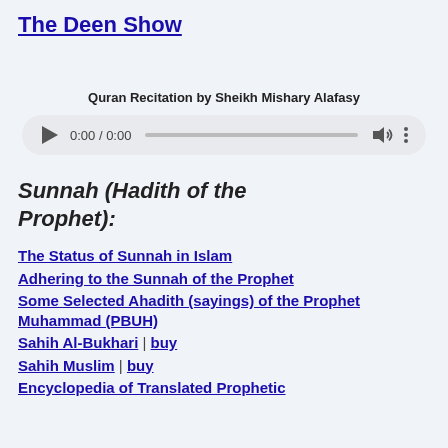The Deen Show
Quran Recitation by Sheikh Mishary Alafasy
[Figure (other): Audio player widget showing 0:00 / 0:00 with play button, seek bar, volume icon, and more options button]
Sunnah (Hadith of the Prophet):
The Status of Sunnah in Islam
Adhering to the Sunnah of the Prophet
Some Selected Ahadith (sayings) of the Prophet Muhammad (PBUH)
Sahih Al-Bukhari | buy
Sahih Muslim | buy
Encyclopedia of Translated Prophetic Hadith